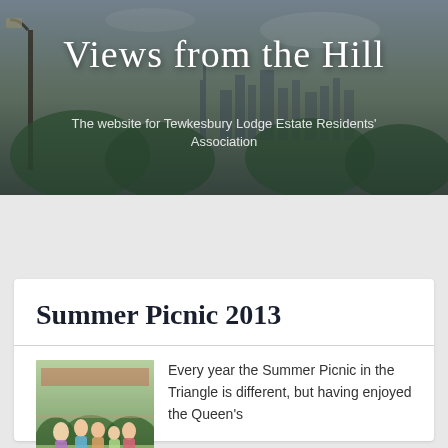Views from the Hill
The website for Tewkesbury Lodge Estate Residents' Association
MENU
[Figure (photo): Group of people at a summer picnic outdoors in a park, with trees in background]
Summer Picnic 2013
Every year the Summer Picnic in the Triangle is different, but having enjoyed the Queen's